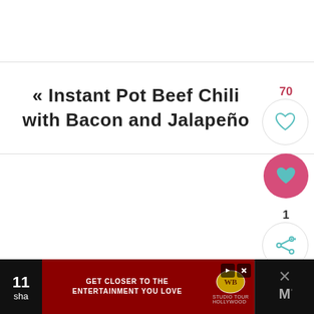« Instant Pot Beef Chili with Bacon and Jalapeño
[Figure (illustration): Like button with count 70 (heart icon in circle outline), favorited heart button (heart icon in pink/magenta filled circle), share button with count 1 (share icon in circle outline)]
[Figure (illustration): Advertisement banner: dark left panel with '11' and 'sha', dark red center with 'GET CLOSER TO THE ENTERTAINMENT YOU LOVE' and Warner Bros. logo, dark right panel with X close icon and stylized M logo]